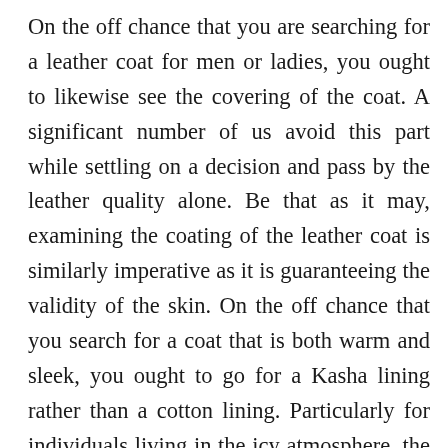On the off chance that you are searching for a leather coat for men or ladies, you ought to likewise see the covering of the coat. A significant number of us avoid this part while settling on a decision and pass by the leather quality alone. Be that as it may, examining the coating of the leather coat is similarly imperative as it is guaranteeing the validity of the skin. On the off chance that you search for a coat that is both warm and sleek, you ought to go for a Kasha lining rather than a cotton lining. Particularly for individuals living in the icy atmosphere, the Kasha lining is more ideal. This kind of covering influence you to feel